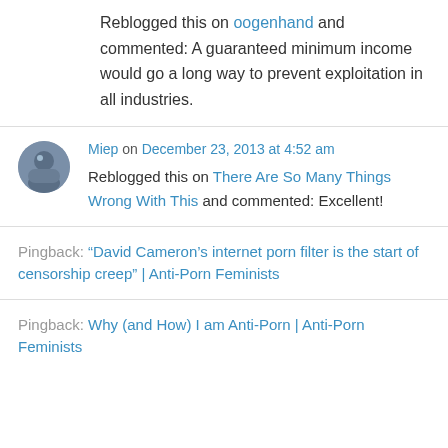Reblogged this on oogenhand and commented: A guaranteed minimum income would go a long way to prevent exploitation in all industries.
Miep on December 23, 2013 at 4:52 am
Reblogged this on There Are So Many Things Wrong With This and commented: Excellent!
Pingback: "David Cameron's internet porn filter is the start of censorship creep" | Anti-Porn Feminists
Pingback: Why (and How) I am Anti-Porn | Anti-Porn Feminists